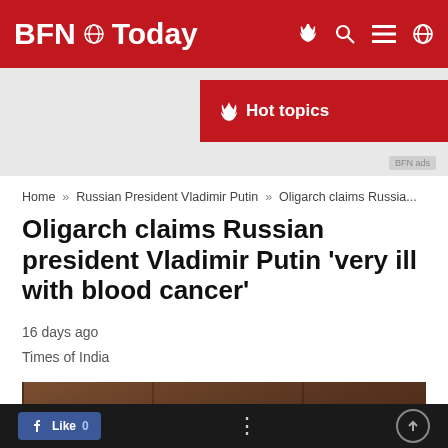BFN Today
Hot topics
Home » Russian President Vladimir Putin » Oligarch claims Russia...
Oligarch claims Russian president Vladimir Putin 'very ill with blood cancer'
16 days ago
Times of India
[Figure (photo): Photo of Vladimir Putin looking downward, dark wood paneled background]
Like 0